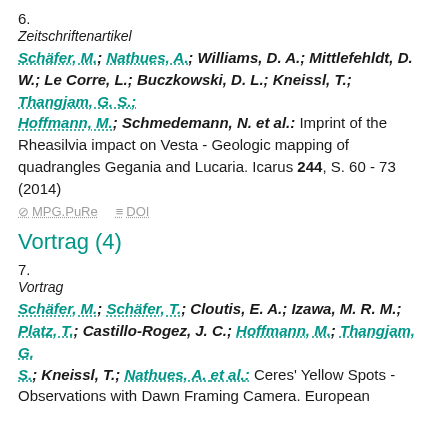6.
Zeitschriftenartikel
Schäfer, M.; Nathues, A.; Williams, D. A.; Mittlefehldt, D. W.; Le Corre, L.; Buczkowski, D. L.; Kneissl, T.; Thangjam, G. S.; Hoffmann, M.; Schmedemann, N. et al.: Imprint of the Rheasilvia impact on Vesta - Geologic mapping of quadrangles Gegania and Lucaria. Icarus 244, S. 60 - 73 (2014)
MPG.PuRe   DOI
Vortrag (4)
7.
Vortrag
Schäfer, M.; Schäfer, T.; Cloutis, E. A.; Izawa, M. R. M.; Platz, T.; Castillo-Rogez, J. C.; Hoffmann, M.; Thangjam, G. S.; Kneissl, T.; Nathues, A. et al.: Ceres' Yellow Spots - Observations with Dawn Framing Camera. European